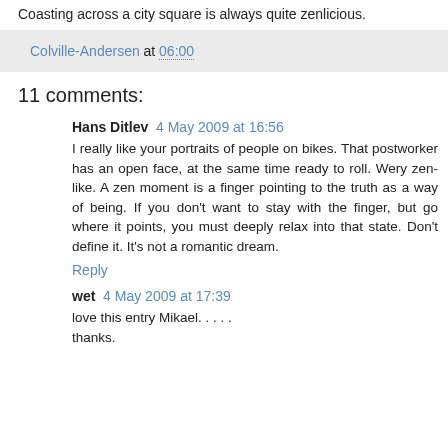Coasting across a city square is always quite zenlicious.
Colville-Andersen at 06:00
11 comments:
Hans Ditlev  4 May 2009 at 16:56
I really like your portraits of people on bikes. That postworker has an open face, at the same time ready to roll. Wery zen-like. A zen moment is a finger pointing to the truth as a way of being. If you don't want to stay with the finger, but go where it points, you must deeply relax into that state. Don't define it. It's not a romantic dream.
Reply
wet  4 May 2009 at 17:39
love this entry Mikael. . . . .
thanks.